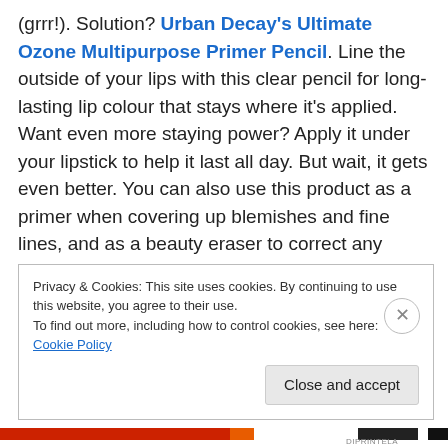(grrr!). Solution? Urban Decay's Ultimate Ozone Multipurpose Primer Pencil. Line the outside of your lips with this clear pencil for long-lasting lip colour that stays where it's applied. Want even more staying power? Apply it under your lipstick to help it last all day. But wait, it gets even better. You can also use this product as a primer when covering up blemishes and fine lines, and as a beauty eraser to correct any makeup mishaps (example: for those fun times when your mascara ends up on your cheek instead of your eyelashes). This multi-tasker is a Fall must-have!
Privacy & Cookies: This site uses cookies. By continuing to use this website, you agree to their use. To find out more, including how to control cookies, see here: Cookie Policy